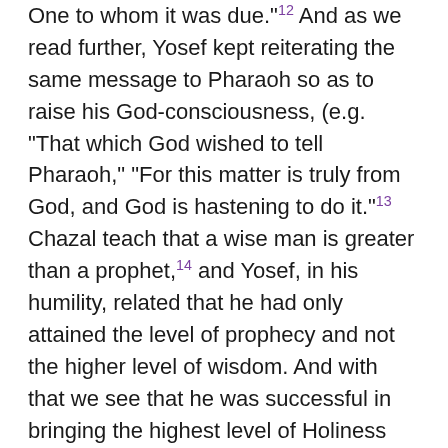One to whom it was due."12 And as we read further, Yosef kept reiterating the same message to Pharaoh so as to raise his God-consciousness, (e.g. "That which God wished to tell Pharaoh," "For this matter is truly from God, and God is hastening to do it."13 Chazal teach that a wise man is greater than a prophet,14 and Yosef, in his humility, related that he had only attained the level of prophecy and not the higher level of wisdom. And with that we see that he was successful in bringing the highest level of Holiness down to the king of materiality and idolatry when Pharaoh himself responds in kind, "Is there then any other man like this with the spirit of God in him?"15 and "God told you all this."
The way that the dream was interpreted to provide a